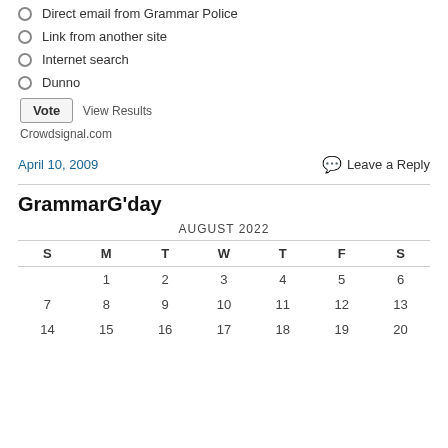Direct email from Grammar Police
Link from another site
Internet search
Dunno
Vote  View Results
Crowdsignal.com
April 10, 2009    Leave a Reply
GrammarG'day
| S | M | T | W | T | F | S |
| --- | --- | --- | --- | --- | --- | --- |
|  | 1 | 2 | 3 | 4 | 5 | 6 |
| 7 | 8 | 9 | 10 | 11 | 12 | 13 |
| 14 | 15 | 16 | 17 | 18 | 19 | 20 |